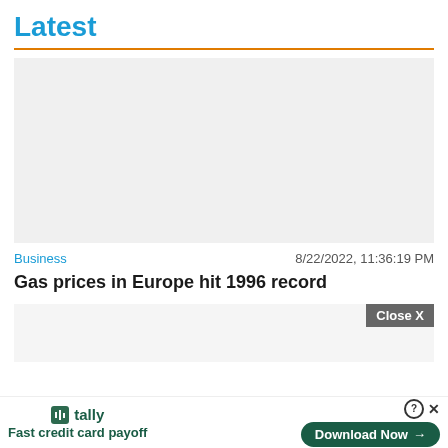Latest
[Figure (photo): Light gray placeholder image for article thumbnail]
Business    8/22/2022, 11:36:19 PM
Gas prices in Europe hit 1996 record
[Figure (screenshot): Ad card with Close X button and gray background]
[Figure (infographic): Tally advertisement banner: Fast credit card payoff with Download Now button]